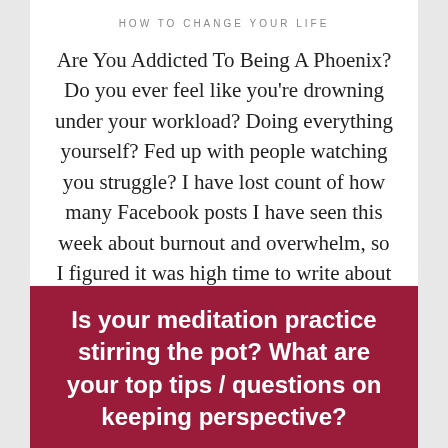HOW TO CHANGE YOUR LIFE
Are You Addicted To Being A Phoenix? Do you ever feel like you’re drowning under your workload? Doing everything yourself? Fed up with people watching you struggle? I have lost count of how many Facebook posts I have seen this week about burnout and overwhelm, so I figured it was high time to write about […]
Is your meditation practice stirring the pot? What are your top tips / questions on keeping perspective?
[Figure (photo): Partial photo strip at the bottom of the card, showing warm and cool toned imagery]